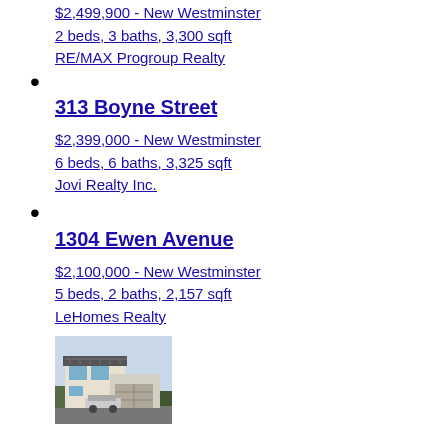$2,499,900 - New Westminster
2 beds, 3 baths, 3,300 sqft
RE/MAX Progroup Realty
313 Boyne Street
$2,399,000 - New Westminster
6 beds, 6 baths, 3,325 sqft
Jovi Realty Inc.
1304 Ewen Avenue
$2,100,000 - New Westminster
5 beds, 2 baths, 2,157 sqft
LeHomes Realty
[Figure (photo): Exterior photo of a modern two-storey house with large windows and a car parked in front]